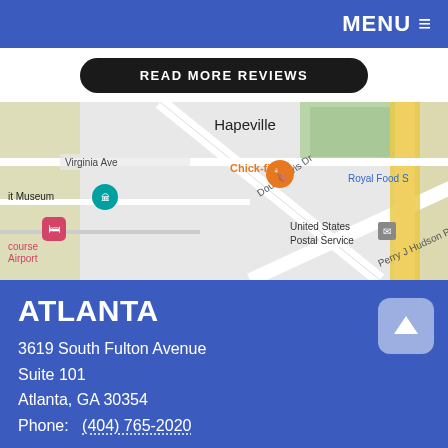MENU ≡
READ MORE REVIEWS
[Figure (map): Google Maps showing area near Hapeville, GA with labels: Virginia Ave, Doug Davis Dr, Perry J Hudson Pkwy, Hapeville, Chick-fil-A, Royal Food, United States Postal Service, it Museum, course Airport]
ATLANTA
3619 South Fulton Avenue
Suite 101
Atlanta, GA 30354
Phone:   (404) 765-2020